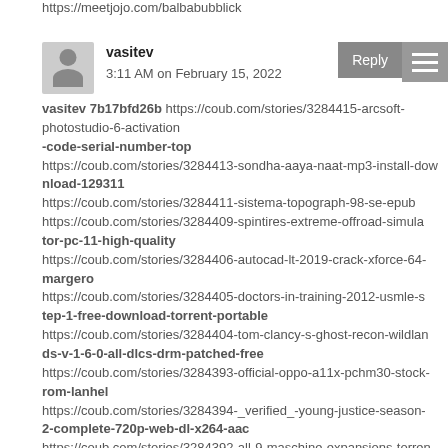https://meetjojo.com/balbabubblick
[Figure (other): User avatar (silhouette) and reply button with hamburger menu icon]
vasitev
3:11 AM on February 15, 2022
vasitev 7b17bfd26b https://coub.com/stories/3284415-arcsoft-photostudio-6-activation
-code-serial-number-top
https://coub.com/stories/3284413-sondha-aaya-naat-mp3-install-download-129311
https://coub.com/stories/3284411-sistema-topograph-98-se-epub
https://coub.com/stories/3284409-spintires-extreme-offroad-simulator-pc-11-high-quality
https://coub.com/stories/3284406-autocad-lt-2019-crack-xforce-64-margero
https://coub.com/stories/3284405-doctors-in-training-2012-usmle-step-1-free-download-torrent-portable
https://coub.com/stories/3284404-tom-clancy-s-ghost-recon-wildlands-v-1-6-0-all-dlcs-drm-patched-free
https://coub.com/stories/3284393-official-oppo-a11x-pchm30-stock-rom-lanhel
https://coub.com/stories/3284394-_verified_-young-justice-season-2-complete-720p-web-dl-x264-aac
https://coub.com/stories/3284392-all-9-maschine-expansions-torrent tgolkes
http://www.ccoscinema.com/cropped-1998x1080-pack-x-men-dp-hd-jpg-jpg/